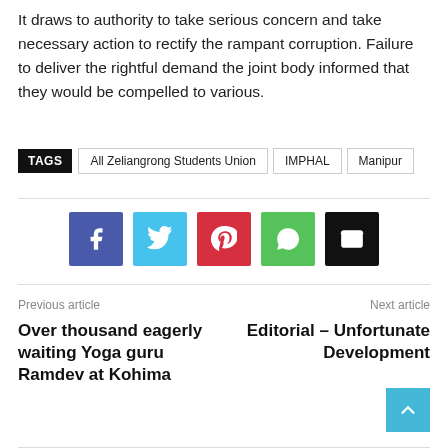It draws to authority to take serious concern and take necessary action to rectify the rampant corruption. Failure to deliver the rightful demand the joint body informed that they would be compelled to various.
TAGS  All Zeliangrong Students Union  IMPHAL  Manipur
[Figure (other): Social sharing buttons: Facebook (blue), Twitter (cyan), Pinterest (red), WhatsApp (green), Email (black)]
Previous article
Over thousand eagerly waiting Yoga guru Ramdev at Kohima
Next article
Editorial – Unfortunate Development